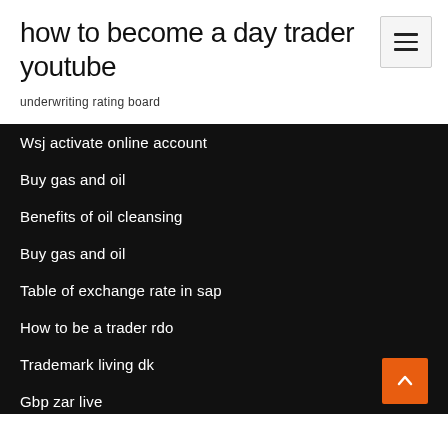how to become a day trader youtube
underwriting rating board
Wsj activate online account
Buy gas and oil
Benefits of oil cleansing
Buy gas and oil
Table of exchange rate in sap
How to be a trader rdo
Trademark living dk
Gbp zar live
Amended tax return online for free 2020